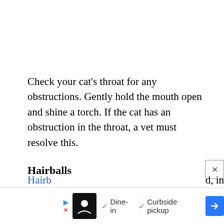Check your cat's throat for any obstructions. Gently hold the mouth open and shine a torch. If the cat has an obstruction in the throat, a vet must resolve this.
Hairballs
Hairballs are the most common obstruction of the feline throat., especially among longhaired breeds.
Hairb[alls] [partially visible] d, in
[Figure (other): Advertisement bar with restaurant logo, Dine-in and Curbside pickup options, blue arrow navigation icon, and close button]